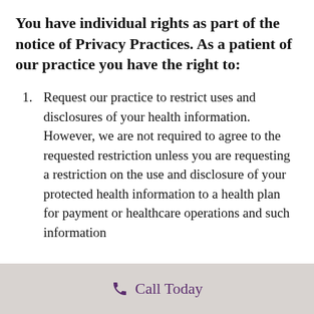You have individual rights as part of the notice of Privacy Practices. As a patient of our practice you have the right to:
Request our practice to restrict uses and disclosures of your health information. However, we are not required to agree to the requested restriction unless you are requesting a restriction on the use and disclosure of your protected health information to a health plan for payment or healthcare operations and such information
Call Today